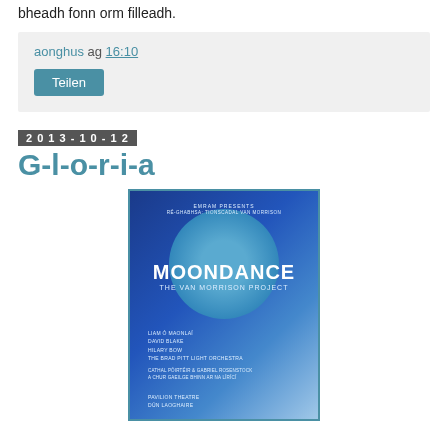bheadh fonn orm filleadh.
aonghus ag 16:10
Teilen
2013-10-12
G-l-o-r-i-a
[Figure (illustration): Moondance: The Van Morrison Project concert poster. Blue background with large central circle. Text includes: EMRAM PRESENTS, RÉ-GHABHSA: TIONSCADAL VAN MORRISON, MOONDANCE, THE VAN MORRISON PROJECT, LIAM Ó MAONLAÍ, DAVID BLAKE, HILARY BOW, THE BRAD PITT LIGHT ORCHESTRA, CATHAL PÓIRTÉIR & GABRIEL ROSENSTOCK, A CHUR GAEILGE BHINN AR NA LÍRÍCÍ, PAVILION THEATRE, DÚN LAOGHAIRE]